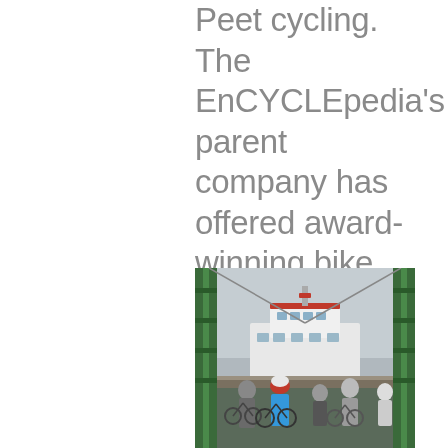Peet cycling. The EnCYCLEpedia's parent company has offered award-winning bike tours in the Maine, Canada, and Europe. Let us show you the best of Portland on one of our fun-filled tours.
[Figure (photo): Group of cyclists with bikes disembarking from a ferry, with green metal ferry structure framing the shot and a white ferry boat with red accents visible in the background under an overcast sky.]